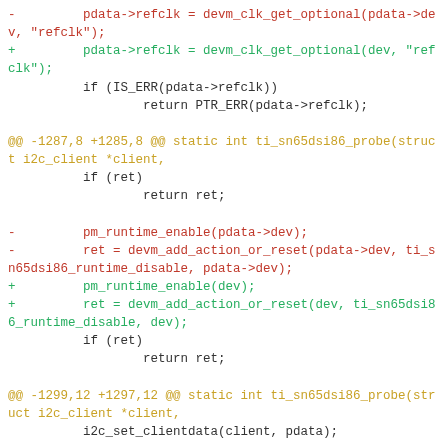diff hunk showing changes to ti_sn65dsi86 driver: replacing pdata->dev with dev in devm_clk_get_optional, pm_runtime_enable, devm_add_action_or_reset, and pdata->aux.dev assignments